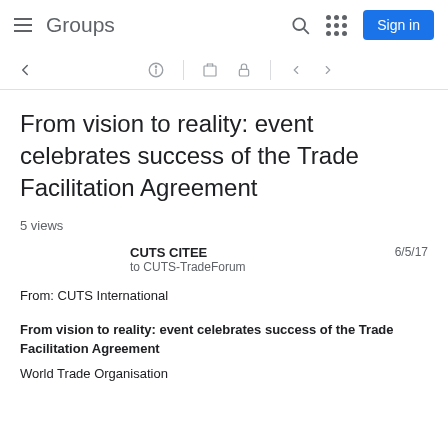Groups  Sign in
[Figure (screenshot): Toolbar with back arrow, info icon, delete icon, lock icon, and navigation arrows]
From vision to reality: event celebrates success of the Trade Facilitation Agreement
5 views
CUTS CITEE  6/5/17  to CUTS-TradeForum
From: CUTS International
From vision to reality: event celebrates success of the Trade Facilitation Agreement
World Trade Organisation